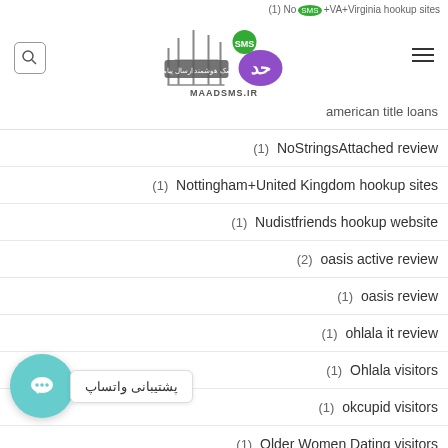(1) NoStrings+VA+Virginia hookup sites | maadsms.ir
(1) NoStringsAttached review
(1) Nottingham+United Kingdom hookup sites
(1) Nudistfriends hookup website
(2) oasis active review
(1) oasis review
(1) ohlala it review
(1) Ohlala visitors
(1) okcupid visitors
(1) Older Women Dating visitors
(1) Omaha+NE+Nebraska hookup dating site
(1) Omaha+NE+Nebraska review